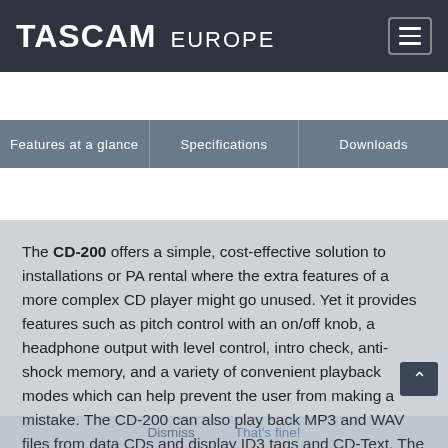TASCAM EUROPE
Features at a glance | Specifications | Downloads
The CD-200 offers a simple, cost-effective solution to installations or PA rental where the extra features of a more complex CD player might go unused. Yet it provides features such as pitch control with an on/off knob, a headphone output with level control, intro check, anti-shock memory, and a variety of convenient playback modes which can help prevent the user from making a mistake. The CD-200 can also play back MP3 and WAV files from data CDs and display ID3 tags and CD-Text. The included wireless remote control gives access to most features and allows a